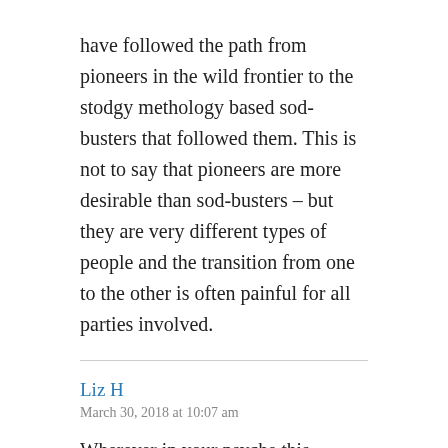have followed the path from pioneers in the wild frontier to the stodgy methology based sod-busters that followed them. This is not to say that pioneers are more desirable than sod-busters – but they are very different types of people and the transition from one to the other is often painful for all parties involved.
Liz H
March 30, 2018 at 10:07 am
Wherever in your psyche this erupted from, keep the lava flowing. Terrific!
And yeah, sometimes being direct, rather than